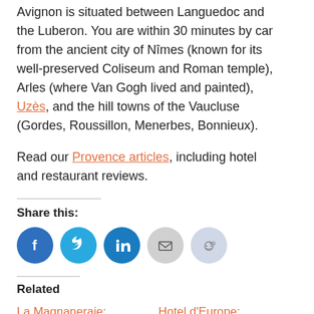Avignon is situated between Languedoc and the Luberon. You are within 30 minutes by car from the ancient city of Nîmes (known for its well-preserved Coliseum and Roman temple), Arles (where Van Gogh lived and painted), Uzès, and the hill towns of the Vaucluse (Gordes, Roussillon, Menerbes, Bonnieux).
Read our Provence articles, including hotel and restaurant reviews.
Share this:
[Figure (infographic): Social share icons: Facebook, Twitter, LinkedIn, Email, Reddit]
Related
La Magnaneraie: charming hotel with lovely gardens in
Hotel d'Europe: historic luxury hotel in the heart of